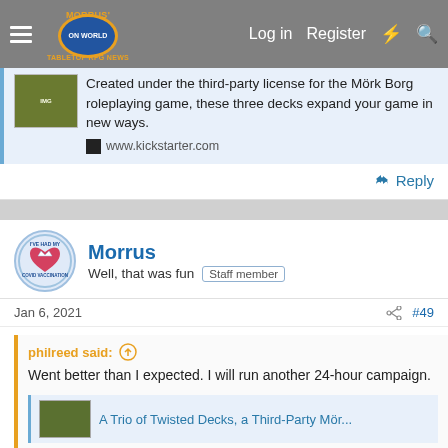Morrus' Unofficial Tabletop RPG News — Log in | Register
Created under the third-party license for the Mörk Borg roleplaying game, these three decks expand your game in new ways.
www.kickstarter.com
Reply
Morrus
Well, that was fun  Staff member
Jan 6, 2021  #49
philreed said:
Went better than I expected. I will run another 24-hour campaign.
A Trio of Twisted Decks, a Third-Party Mör...